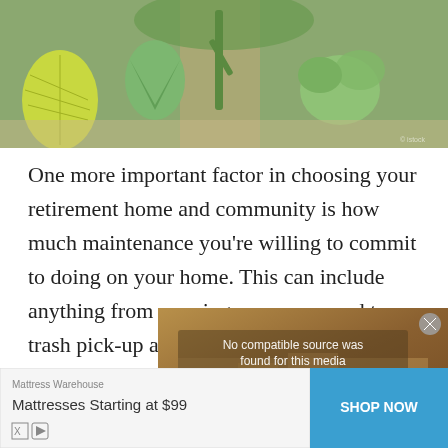[Figure (photo): Outdoor desert garden scene with various cacti including barrel cactus, agave, prickly pear, and other succulent plants against a sandy background]
One more important factor in choosing your retirement home and community is how much maintenance you're willing to commit to doing on your home. This can include anything from mowing your own yard to trash pick-up and even hanging up Christmas lights.
If the upkeep of your house and yard isn't a part of your retirement plans, then you should opt for a community that provides all of the maintenance.
[Figure (screenshot): Video error overlay showing 'No compatible source was found for this media' with an X close button, overlaid on a Bellagio Fountain Show image]
[Figure (screenshot): Advertisement from Mattress Warehouse: Mattresses Starting at $99 with a SHOP NOW button]